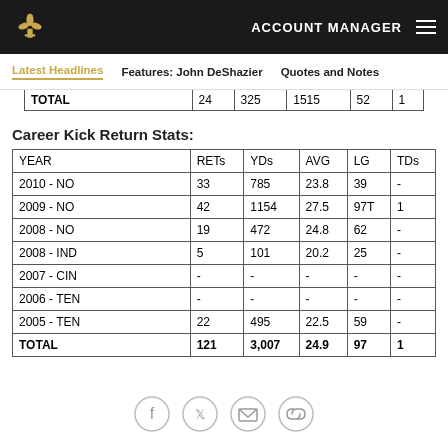ACCOUNT MANAGER
| YEAR | RETs | YDs | AVG | LG | TDs |
| --- | --- | --- | --- | --- | --- |
| TOTAL | 24 | 325 | 1515 | 52 | 1 |
Career Kick Return Stats:
| YEAR | RETs | YDs | AVG | LG | TDs |
| --- | --- | --- | --- | --- | --- |
| 2010 - NO | 33 | 785 | 23.8 | 39 | - |
| 2009 - NO | 42 | 1154 | 27.5 | 97T | 1 |
| 2008 - NO | 19 | 472 | 24.8 | 62 | - |
| 2008 - IND | 5 | 101 | 20.2 | 25 | - |
| 2007 - CIN | - | - | - | - | - |
| 2006 - TEN | - | - | - | - | - |
| 2005 - TEN | 22 | 495 | 22.5 | 59 | - |
| TOTAL | 121 | 3,007 | 24.9 | 97 | 1 |
Social share icons: Facebook, Twitter, Email, Link